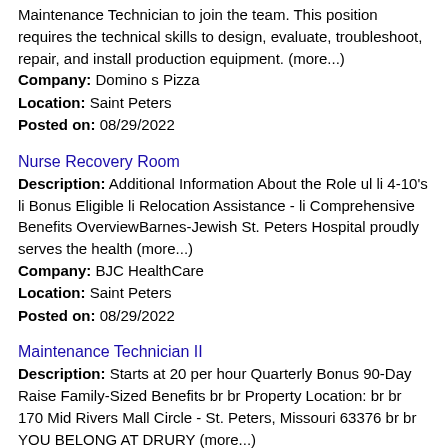Maintenance Technician to join the team. This position requires the technical skills to design, evaluate, troubleshoot, repair, and install production equipment. (more...)
Company: Domino s Pizza
Location: Saint Peters
Posted on: 08/29/2022
Nurse Recovery Room
Description: Additional Information About the Role ul li 4-10's li Bonus Eligible li Relocation Assistance - li Comprehensive Benefits OverviewBarnes-Jewish St. Peters Hospital proudly serves the health (more...)
Company: BJC HealthCare
Location: Saint Peters
Posted on: 08/29/2022
Maintenance Technician II
Description: Starts at 20 per hour Quarterly Bonus 90-Day Raise Family-Sized Benefits br br Property Location: br br 170 Mid Rivers Mall Circle - St. Peters, Missouri 63376 br br YOU BELONG AT DRURY (more...)
Company: Drury Hotels
Location: Saint Peters
Posted on: 08/29/2022